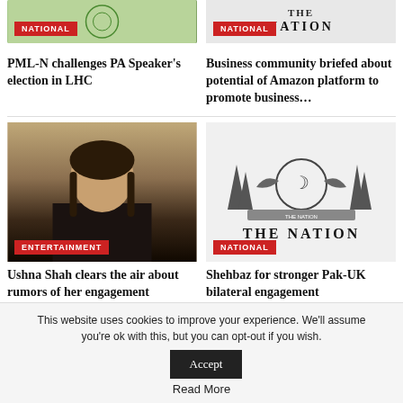[Figure (photo): Article thumbnail image with green/flag style background and NATIONAL category badge]
[Figure (logo): The Nation newspaper logo with NATIONAL category badge]
PML-N challenges PA Speaker's election in LHC
Business community briefed about potential of Amazon platform to promote business…
[Figure (photo): Photo of woman (Ushna Shah) with ENTERTAINMENT category badge]
Ushna Shah clears the air about rumors of her engagement
[Figure (logo): The Nation newspaper emblem/logo with trees, eagle, crescent circle and THE NATION text, with NATIONAL category badge]
Shehbaz for stronger Pak-UK bilateral engagement
This website uses cookies to improve your experience. We'll assume you're ok with this, but you can opt-out if you wish. Accept Read More